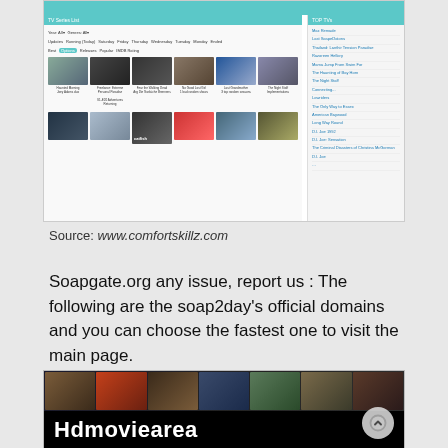[Figure (screenshot): Screenshot of a TV series listing website (comfortskillz.com) showing a TV Series list with thumbnails of shows and a right sidebar with top picks list]
Source: www.comfortskillz.com
Soapgate.org any issue, report us : The following are the soap2day's official domains and you can choose the fastest one to visit the main page.
[Figure (screenshot): Screenshot of Hdmoviearea website showing movie thumbnails and the site logo text 'Hdmoviearea']